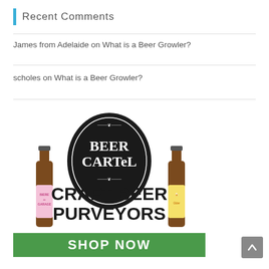Recent Comments
James from Adelaide on What is a Beer Growler?
scholes on What is a Beer Growler?
[Figure (logo): Beer Cartel Craft Beer Purveyors advertisement with logo oval, two beer bottles, and green Shop Now button]